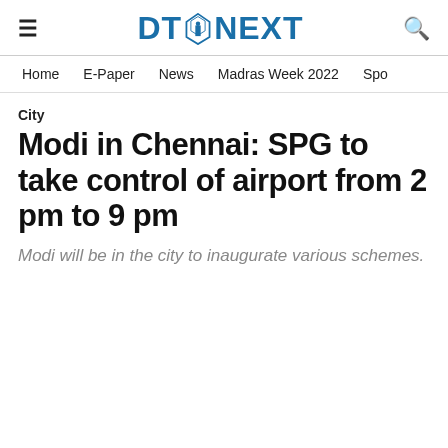DT NEXT
Home   E-Paper   News   Madras Week 2022   Spo
City
Modi in Chennai: SPG to take control of airport from 2 pm to 9 pm
Modi will be in the city to inaugurate various schemes.